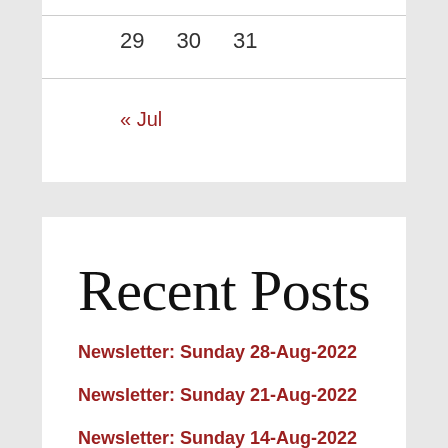| 29 | 30 | 31 |
« Jul
Recent Posts
Newsletter: Sunday 28-Aug-2022
Newsletter: Sunday 21-Aug-2022
Newsletter: Sunday 14-Aug-2022